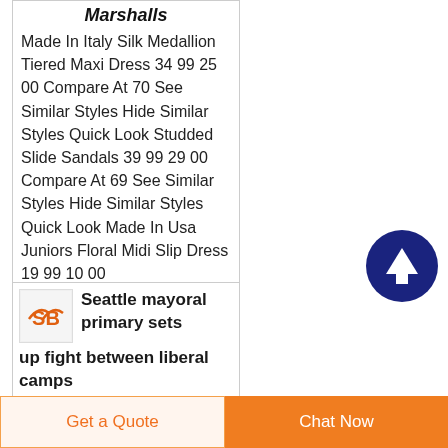Marshalls
Made In Italy Silk Medallion Tiered Maxi Dress 34 99 25 00 Compare At 70 See Similar Styles Hide Similar Styles Quick Look Studded Slide Sandals 39 99 29 00 Compare At 69 See Similar Styles Hide Similar Styles Quick Look Made In Usa Juniors Floral Midi Slip Dress 19 99 10 00
[Figure (other): Circular dark blue scroll-to-top button with white upward arrow]
[Figure (logo): Small orange SB logo thumbnail]
Seattle mayoral primary sets up fight between liberal camps
Get a Quote
Chat Now